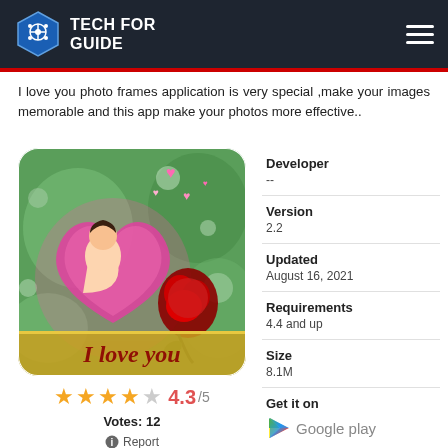TECH FOR GUIDE
I love you photo frames application is very special ,make your images memorable and this app make your photos more effective..
[Figure (screenshot): App icon for 'I love you' photo frames app showing a woman in a pink heart frame with a red rose, text 'I love you' at the bottom]
★★★★☆ 4.3/5 Votes: 12 ⓘ Report
| Field | Value |
| --- | --- |
| Developer | -- |
| Version | 2.2 |
| Updated | August 16, 2021 |
| Requirements | 4.4 and up |
| Size | 8.1M |
| Get it on | Google play |